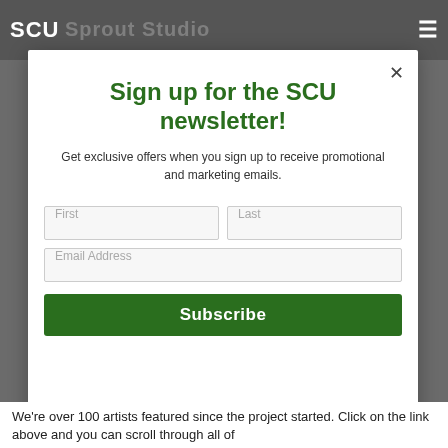SCU  Sprout Studio
Sign up for the SCU newsletter!
Get exclusive offers when you sign up to receive promotional and marketing emails.
First  Last  Email Address  Subscribe
We're over 100 artists featured since the project started. Click on the link above and you can scroll through all of